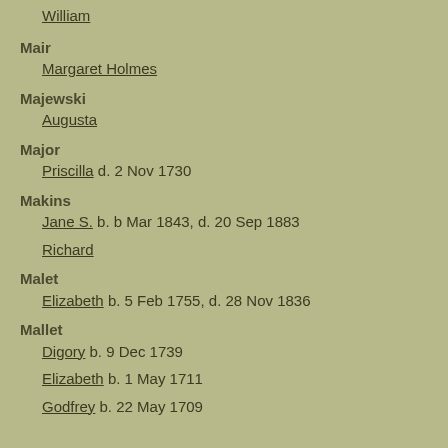William
Mair
Margaret Holmes
Majewski
Augusta
Major
Priscilla   d. 2 Nov 1730
Makins
Jane S.   b. b Mar 1843, d. 20 Sep 1883
Richard
Malet
Elizabeth   b. 5 Feb 1755, d. 28 Nov 1836
Mallet
Digory   b. 9 Dec 1739
Elizabeth   b. 1 May 1711
Godfrey   b. 22 May 1709